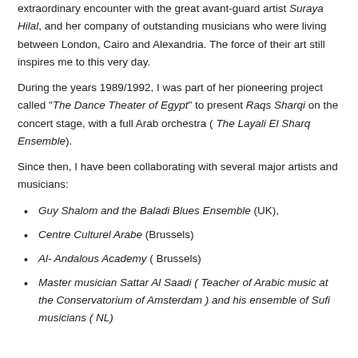extraordinary encounter with the great avant-guard artist Suraya Hilal, and her company of outstanding musicians who were living between London, Cairo and Alexandria. The force of their art still inspires me to this very day.
During the years 1989/1992, I was part of her pioneering project called "The Dance Theater of Egypt" to present Raqs Sharqi on the concert stage, with a full Arab orchestra ( The Layali El Sharq Ensemble).
Since then, I have been collaborating with several major artists and musicians:
Guy Shalom and the Baladi Blues Ensemble (UK),
Centre Culturel Arabe (Brussels)
Al- Andalous Academy ( Brussels)
Master musician Sattar Al Saadi ( Teacher of Arabic music at the Conservatorium of Amsterdam ) and his ensemble of Sufi musicians ( NL)